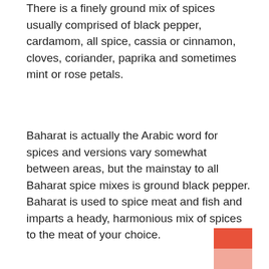There is a finely ground mix of spices usually comprised of black pepper, cardamom, all spice, cassia or cinnamon, cloves, coriander, paprika and sometimes mint or rose petals.
Baharat is actually the Arabic word for spices and versions vary somewhat between areas, but the mainstay to all Baharat spice mixes is ground black pepper. Baharat is used to spice meat and fish and imparts a heady, harmonious mix of spices to the meat of your choice.
[Figure (other): Decorative two-tone rectangular block in coral/salmon colors at bottom right corner]